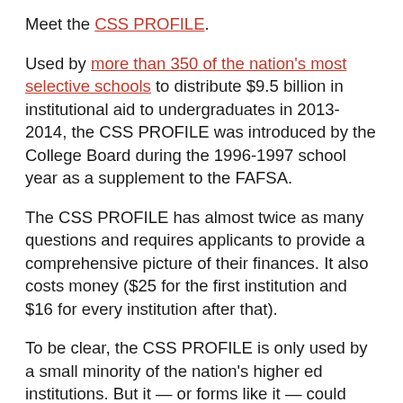Meet the CSS PROFILE.
Used by more than 350 of the nation's most selective schools to distribute $9.5 billion in institutional aid to undergraduates in 2013-2014, the CSS PROFILE was introduced by the College Board during the 1996-1997 school year as a supplement to the FAFSA.
The CSS PROFILE has almost twice as many questions and requires applicants to provide a comprehensive picture of their finances. It also costs money ($25 for the first institution and $16 for every institution after that).
To be clear, the CSS PROFILE is only used by a small minority of the nation's higher ed institutions. But it — or forms like it — could become much more common if lawmakers shorten the FAFSA, says Justin Draeger of the National Association of